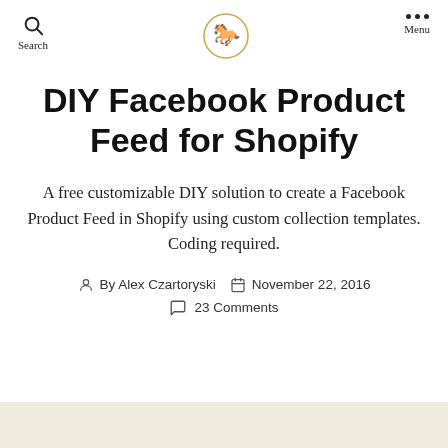Search | [Logo] | Menu
DIY Facebook Product Feed for Shopify
A free customizable DIY solution to create a Facebook Product Feed in Shopify using custom collection templates. Coding required.
By Alex Czartoryski   November 22, 2016   23 Comments